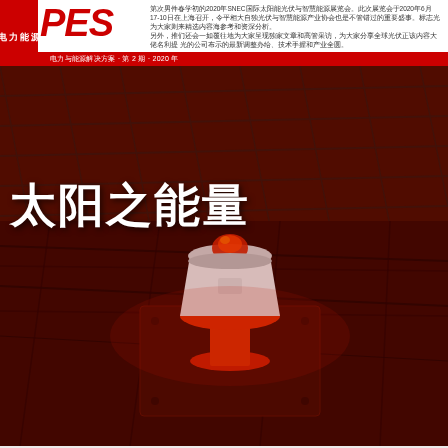PES 电力与能源解决方案
第次男件春学初的2020年SNEC国际太阳能光伏与智慧能源展览会。此次展览会于2020年6月17-10日在上海召开，令平相大自独光伏与智慧能源产业协会也是不管错过的重要盛事。标志光为大家则来精选内容海参考和资深分析。另外，推们还会一如覆往地为大家呈现独家文章和高管采访，为大家分享全球光伏正该内容大佬名利提 光的公司布示的最新调整办给、技术手握和产业全圆。
太阳之能量
[Figure (photo): Magazine cover photo: close-up of a red-toned solar irradiance sensor (pyranometer) mounted on a dark solar panel surface, with strong red lighting creating a dramatic atmosphere. The image shows solar panels with a dome-shaped sensor device prominently featured in the center.]
随着全球太阳能和光伏市场不断发展，与之相关的项目计划本身及其所涉及的组件也在持续跟进和增长。如此的发展既是相关方贡献挑战，同时也带来了振奋人心的机遇。